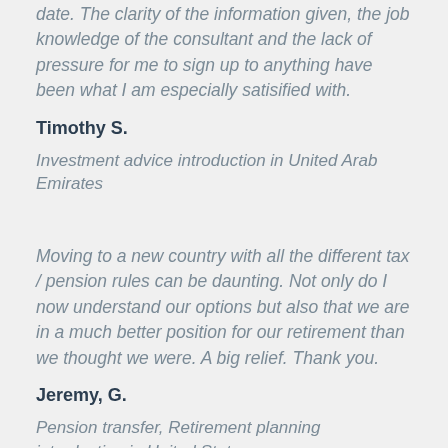date. The clarity of the information given, the job knowledge of the consultant and the lack of pressure for me to sign up to anything have been what I am especially satisified with.
Timothy S.
Investment advice introduction in United Arab Emirates
Moving to a new country with all the different tax / pension rules can be daunting. Not only do I now understand our options but also that we are in a much better position for our retirement than we thought we were. A big relief. Thank you.
Jeremy, G.
Pension transfer, Retirement planning introduction in United States